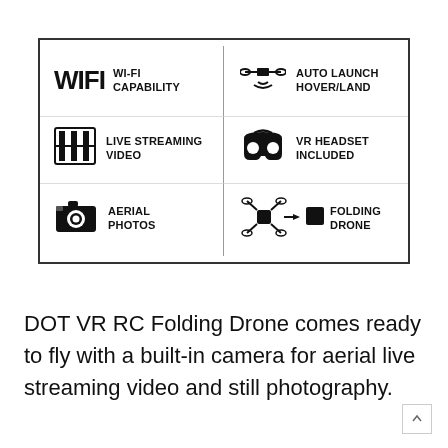[Figure (infographic): Features box with 6 icons and labels: WIFI WI-FI CAPABILITY, LIVE STREAMING VIDEO, AERIAL PHOTOS, AUTO LAUNCH HOVER/LAND, VR HEADSET INCLUDED, FOLDING DRONE]
DOT VR RC Folding Drone comes ready to fly with a built-in camera for aerial live streaming video and still photography.